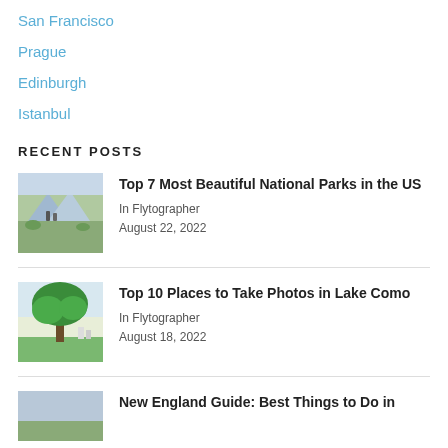San Francisco
Prague
Edinburgh
Istanbul
RECENT POSTS
[Figure (photo): Two people standing in a mountain meadow with mountain range in background]
Top 7 Most Beautiful National Parks in the US
In Flytographer
August 22, 2022
[Figure (photo): Large tree with green canopy in a garden setting with bright sky]
Top 10 Places to Take Photos in Lake Como
In Flytographer
August 18, 2022
[Figure (photo): New England scene thumbnail]
New England Guide: Best Things to Do in